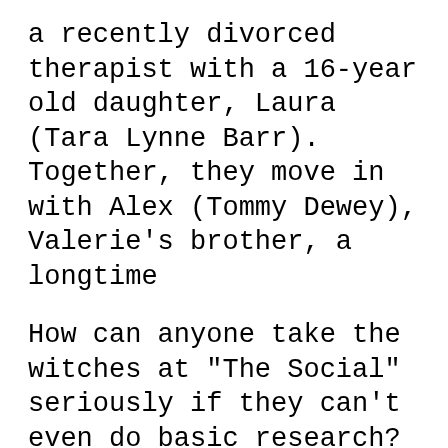a recently divorced therapist with a 16-year old daughter, Laura (Tara Lynne Barr). Together, they move in with Alex (Tommy Dewey), Valerie's brother, a longtime
How can anyone take the witches at "The Social" seriously if they can't even do basic research? In my opinion, the people who run the social and present it, are idiots. It's one of those shows that doesn't make you think because they are too busy trying to drive their agenda home. The Social is Vacutainment or a show for the unthinking masses. The Social Media Show caught up with Lisa Song Sutton, Miss Nevada US 2014, to discuss how